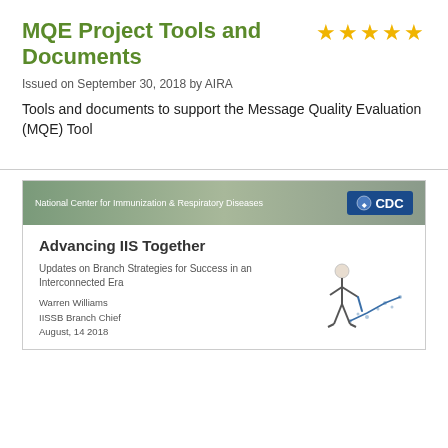MQE Project Tools and Documents
Issued on September 30, 2018 by AIRA
Tools and documents to support the Message Quality Evaluation (MQE) Tool
[Figure (screenshot): Preview of a CDC / National Center for Immunization & Respiratory Diseases document titled 'Advancing IIS Together' with subtitle 'Updates on Branch Strategies for Success in an Interconnected Era', authored by Warren Williams, IISSB Branch Chief, August, 14 2018, with an illustration of a figure drawing a line chart.]